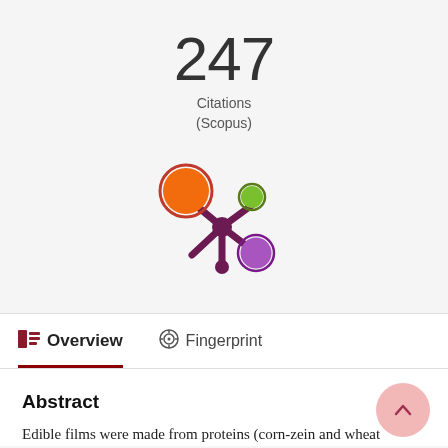247 Citations (Scopus)
[Figure (logo): Altmetric/Pure butterfly logo with orange, green, and purple circles arranged in a butterfly shape on a dark magenta base]
Overview
Fingerprint
Abstract
Edible films were made from proteins (corn-zein and wheat